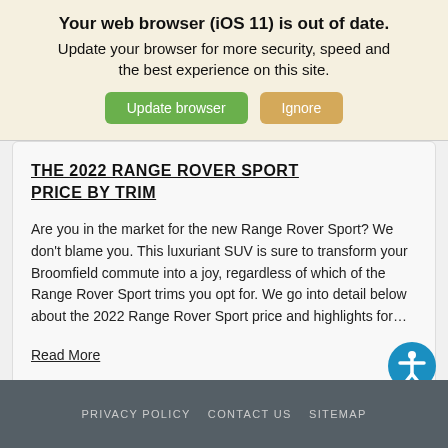Your web browser (iOS 11) is out of date.
Update your browser for more security, speed and the best experience on this site.
Update browser   Ignore
THE 2022 RANGE ROVER SPORT PRICE BY TRIM
Are you in the market for the new Range Rover Sport? We don't blame you. This luxuriant SUV is sure to transform your Broomfield commute into a joy, regardless of which of the Range Rover Sport trims you opt for. We go into detail below about the 2022 Range Rover Sport price and highlights for…
Read More
PRIVACY POLICY   CONTACT US   SITEMAP